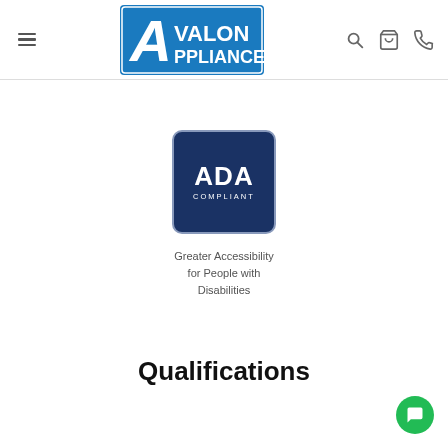Avalon Appliances – navigation header with logo, hamburger menu, search, cart, and phone icons
[Figure (logo): ADA Compliant badge: dark navy square with rounded corners and light border, text 'ADA' in large white bold letters and 'COMPLIANT' in small white spaced letters below]
Greater Accessibility for People with Disabilities
Qualifications